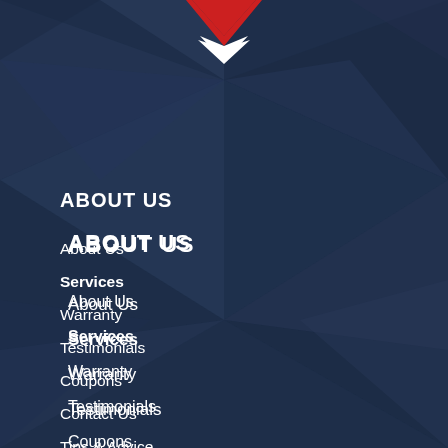[Figure (illustration): Dark navy blue geometric/polygonal background with lighter blue triangular facets. A red and white downward-pointing chevron/arrow logo at the top center.]
ABOUT US
About Us
Services
Warranty
Testimonials
Coupons
Contact Us
Tips & Advice
Get Directions
Privacy Policy
OUR SERVICES